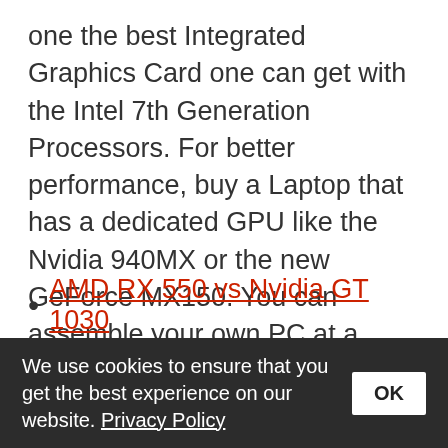one the best Integrated Graphics Card one can get with the Intel 7th Generation Processors. For better performance, buy a Laptop that has a dedicated GPU like the Nvidia 940MX or the new GeForce MX150. You can assemble your own PC at a much lower price. For that, you can go with GPUs like the AMD RX 550 or the Nvidia GT 1030. Here is our comparison of both these Graphics Cards:
AMD RX 550 vs Nvidia GT 1030
We use cookies to ensure that you get the best experience on our website. Privacy Policy OK